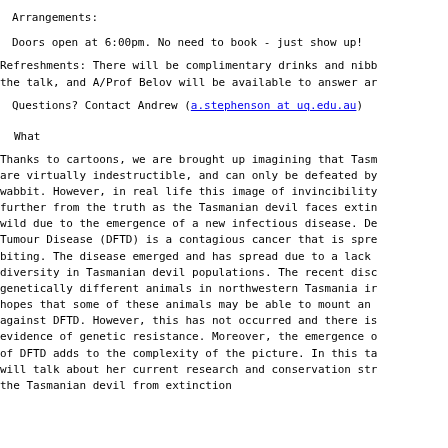Arrangements:
Doors open at 6:00pm. No need to book - just show up!
Refreshments: There will be complimentary drinks and nibb the talk, and A/Prof Belov will be available to answer ar
Questions? Contact Andrew (a.stephenson at uq.edu.au)
What
Thanks to cartoons, we are brought up imagining that Tasm are virtually indestructible, and can only be defeated by wabbit. However, in real life this image of invincibility further from the truth as the Tasmanian devil faces extin wild due to the emergence of a new infectious disease. De Tumour Disease (DFTD) is a contagious cancer that is spre biting. The disease emerged and has spread due to a lack diversity in Tasmanian devil populations. The recent disc genetically different animals in northwestern Tasmania ir hopes that some of these animals may be able to mount an against DFTD. However, this has not occurred and there is evidence of genetic resistance. Moreover, the emergence o of DFTD adds to the complexity of the picture. In this ta will talk about her current research and conservation str the Tasmanian devil from extinction